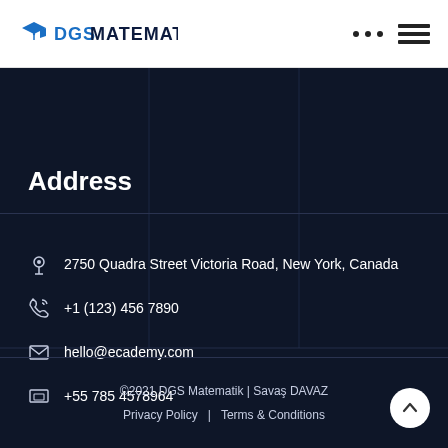[Figure (logo): DGS Matematik logo with graduation cap icon]
Address
2750 Quadra Street Victoria Road, New York, Canada
+1 (123) 456 7890
hello@ecademy.com
+55 785 4578964
©2021 DGS Matematik | Savaş DAVAZ
Privacy Policy  |  Terms & Conditions